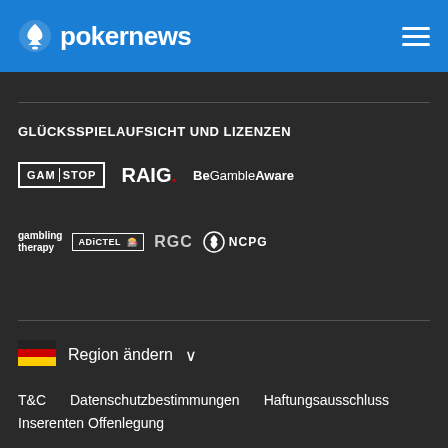pokernews
GLÜCKSSPIELAUFSICHT UND LIZENZEN
[Figure (logo): GAM STOP logo (white bordered box with text GAM|STOP)]
[Figure (logo): RAIG. logo in white bold text with colored dot]
[Figure (logo): BeGambleAware logo in white text]
[Figure (logo): gambling therapy logo in white bold text]
[Figure (logo): ADICTEL logo in white bordered box]
[Figure (logo): RGC logo in grey bold text]
[Figure (logo): NCPG logo with circular icon and text]
Region ändern
T&C    Datenschutzbestimmungen    Haftungsausschluss
Inserenten Offenlegung
© 2003-2022 iBus Media LTD. Alle Rechte vorbehalten. Dieses